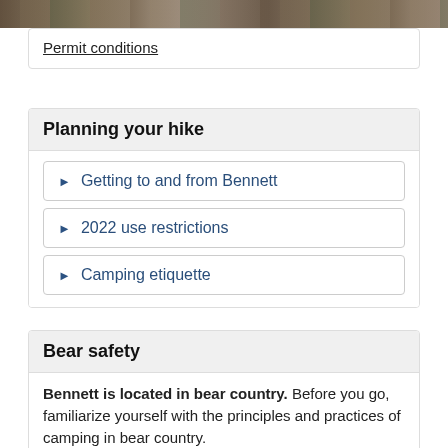[Figure (photo): Partial view of a photo showing people hiking or camping in a natural outdoor setting]
Permit conditions
Planning your hike
Getting to and from Bennett
2022 use restrictions
Camping etiquette
Bear safety
Bennett is located in bear country. Before you go, familiarize yourself with the principles and practices of camping in bear country.
Read You Are in Bear Country